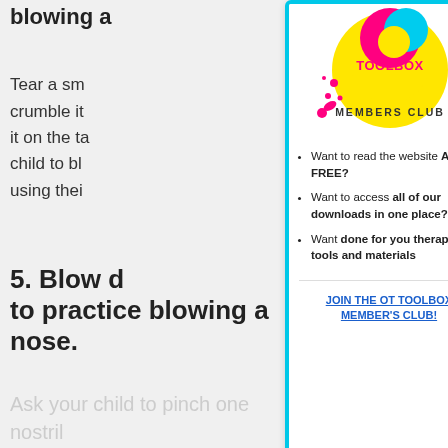blowing a
Tear a sm... crumble it... it on the ta... child to bl... using thei...
5. Blow d... to practice blowing a nose.
[Figure (logo): OT Toolbox Members Club logo - yellow circle with pink/magenta text and decorative elements]
Want to read the website AD-FREE?
Want to access all of our downloads in one place?
Want done for you therapy tools and materials
JOIN THE OT TOOLBOX MEMBER'S CLUB!
Ask your child to pinch one nostril